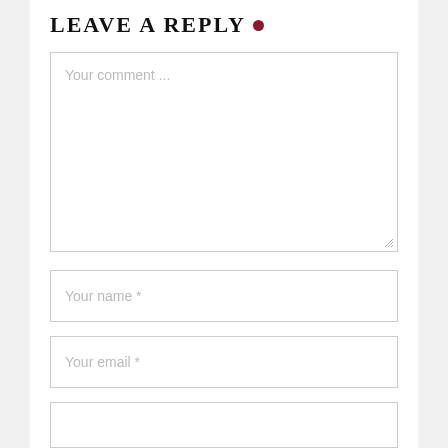LEAVE A REPLY •
[Figure (screenshot): A web comment form with placeholder text fields for comment, name, and email]
Your comment ...
Your name *
Your email *